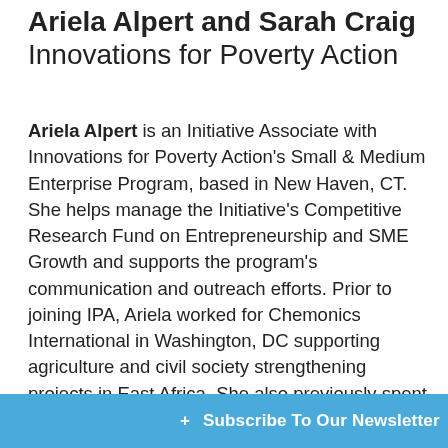Ariela Alpert and Sarah Craig Innovations for Poverty Action
Ariela Alpert is an Initiative Associate with Innovations for Poverty Action's Small & Medium Enterprise Program, based in New Haven, CT. She helps manage the Initiative's Competitive Research Fund on Entrepreneurship and SME Growth and supports the program's communication and outreach efforts. Prior to joining IPA, Ariela worked for Chemonics International in Washington, DC supporting agriculture and civil society strengthening projects in East Africa. She also previously spent a year at the Agahozo-Shalom Youth Village in Rwanda where she served as the International Coordinator and taught entrepreneur...